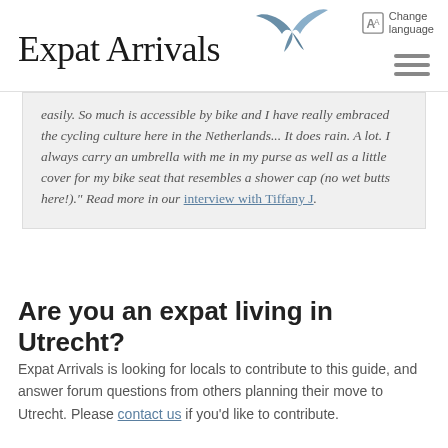Expat Arrivals — Change language
easily. So much is accessible by bike and I have really embraced the cycling culture here in the Netherlands... It does rain. A lot. I always carry an umbrella with me in my purse as well as a little cover for my bike seat that resembles a shower cap (no wet butts here!)." Read more in our interview with Tiffany J.
Are you an expat living in Utrecht?
Expat Arrivals is looking for locals to contribute to this guide, and answer forum questions from others planning their move to Utrecht. Please contact us if you'd like to contribute.